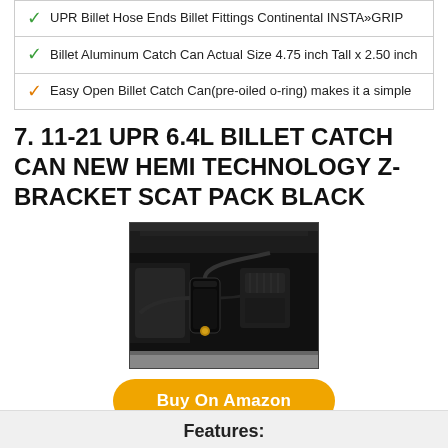UPR Billet Hose Ends Billet Fittings Continental INSTA»GRIP
Billet Aluminum Catch Can Actual Size 4.75 inch Tall x 2.50 inch
Easy Open Billet Catch Can(pre-oiled o-ring) makes it a simple
7. 11-21 UPR 6.4L BILLET CATCH CAN NEW HEMI TECHNOLOGY Z-BRACKET SCAT PACK BLACK
[Figure (photo): Photo of a black billet catch can installed in an engine bay of a vehicle, showing hoses and engine components]
Buy On Amazon
Features: